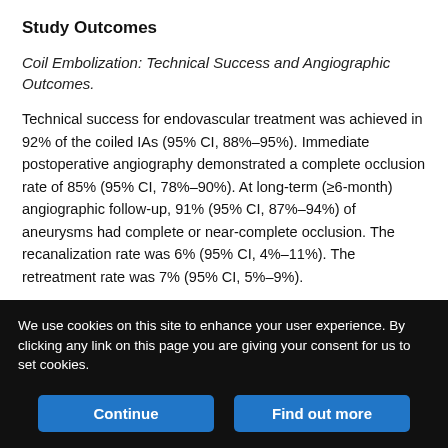Study Outcomes
Coil Embolization: Technical Success and Angiographic Outcomes.
Technical success for endovascular treatment was achieved in 92% of the coiled IAs (95% CI, 88%–95%). Immediate postoperative angiography demonstrated a complete occlusion rate of 85% (95% CI, 78%–90%). At long-term (≥6-month) angiographic follow-up, 91% (95% CI, 87%–94%) of aneurysms had complete or near-complete occlusion. The recanalization rate was 6% (95% CI, 4%–11%). The retreatment rate was 7% (95% CI, 5%–9%).
When we compared coiled ruptured and unruptured IAs, results from immediate postcoiling angiography demonstrated similar rates of
We use cookies on this site to enhance your user experience. By clicking any link on this page you are giving your consent for us to set cookies.